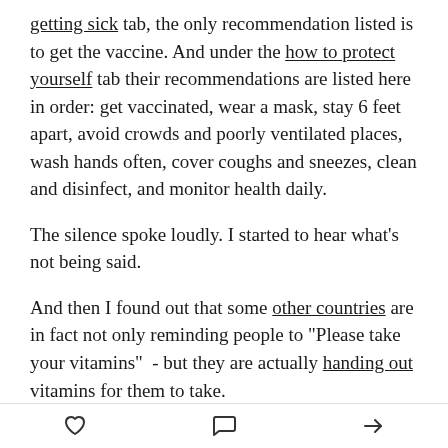getting sick tab, the only recommendation listed is to get the vaccine. And under the how to protect yourself tab their recommendations are listed here in order: get vaccinated, wear a mask, stay 6 feet apart, avoid crowds and poorly ventilated places, wash hands often, cover coughs and sneezes, clean and disinfect, and monitor health daily.
The silence spoke loudly. I started to hear what's not being said.
And then I found out that some other countries are in fact not only reminding people to "Please take your vitamins" - but they are actually handing out vitamins for them to take.
During a pandemic, this seems to me like a common